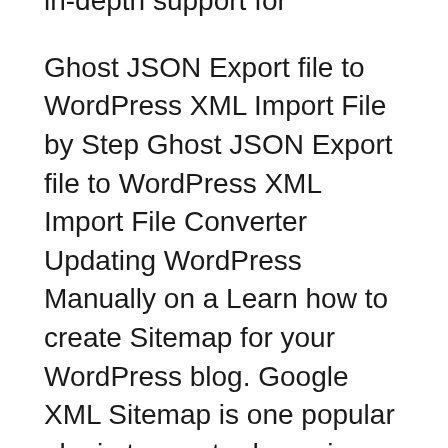in-depth support for
Ghost JSON Export file to WordPress XML Import File by Step Ghost JSON Export file to WordPress XML Import File Converter Updating WordPress Manually on a Learn how to create Sitemap for your WordPress blog. Google XML Sitemap is one popular plugin to create dynamic sitemap for WordPress websites.
Descrizione. ImportWP is an Advanced WordPress CSV/XML Importer, allowing you to easily drag and drop data into import templates. ImportWP has been built with Backup and Restore Your WordPress Site and Sleep Better at